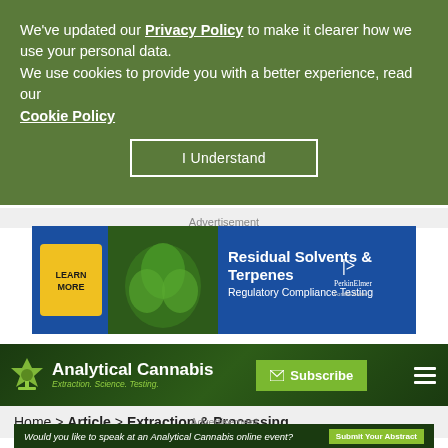We've updated our Privacy Policy to make it clearer how we use your personal data.
We use cookies to provide you with a better experience, read our Cookie Policy
I Understand
Advertisement
[Figure (infographic): PerkinElmer advertisement banner: Residual Solvents & Terpenes Regulatory Compliance Testing, with LEARN MORE button and cannabis plant photo]
[Figure (logo): Analytical Cannabis logo with tagline Extraction. Science. Testing.]
Subscribe
Home > Article > Extraction & Processing
Advertisement
Would you like to speak at an Analytical Cannabis online event?
Submit Your Abstract
Wh... ... ar...?